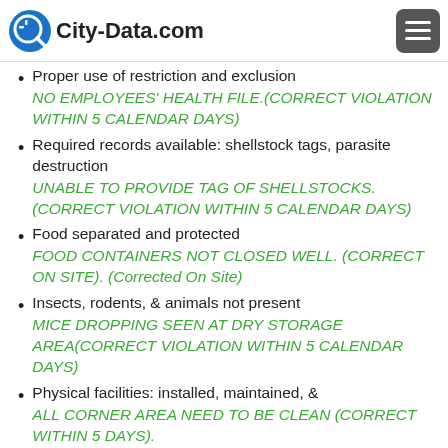City-Data.com
Proper use of restriction and exclusion
NO EMPLOYEES' HEALTH FILE.(CORRECT VIOLATION WITHIN 5 CALENDAR DAYS)
Required records available: shellstock tags, parasite destruction
UNABLE TO PROVIDE TAG OF SHELLSTOCKS. (CORRECT VIOLATION WITHIN 5 CALENDAR DAYS)
Food separated and protected
FOOD CONTAINERS NOT CLOSED WELL. (CORRECT ON SITE). (Corrected On Site)
Insects, rodents, & animals not present
MICE DROPPING SEEN AT DRY STORAGE AREA(CORRECT VIOLATION WITHIN 5 CALENDAR DAYS)
Physical facilities: installed, maintained, &
ALL CORNER AREA NEED TO BE CLEAN (CORRECT WITHIN 5 DAYS).